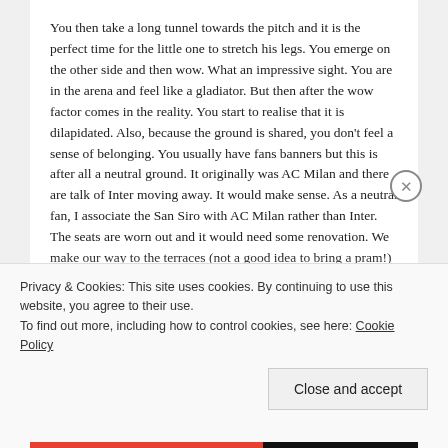You then take a long tunnel towards the pitch and it is the perfect time for the little one to stretch his legs. You emerge on the other side and then wow. What an impressive sight. You are in the arena and feel like a gladiator. But then after the wow factor comes in the reality. You start to realise that it is dilapidated. Also, because the ground is shared, you don't feel a sense of belonging. You usually have fans banners but this is after all a neutral ground. It originally was AC Milan and there are talk of Inter moving away. It would make sense. As a neutral fan, I associate the San Siro with AC Milan rather than Inter. The seats are worn out and it would need some renovation. We make our way to the terraces (not a good idea to bring a pram!) and my son gets to shout. Well his shout goes all around the stadium and I can only imaging how deafening it must be when full capacity with flares and
Privacy & Cookies: This site uses cookies. By continuing to use this website, you agree to their use.
To find out more, including how to control cookies, see here: Cookie Policy
Close and accept